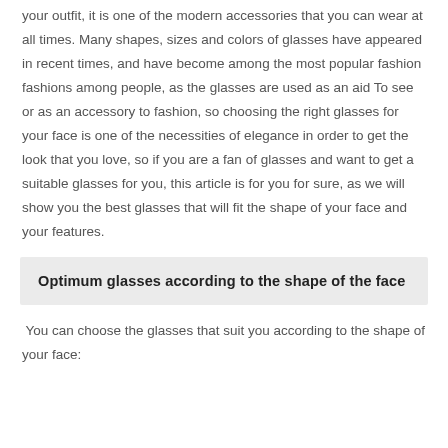your outfit, it is one of the modern accessories that you can wear at all times. Many shapes, sizes and colors of glasses have appeared in recent times, and have become among the most popular fashion fashions among people, as the glasses are used as an aid To see or as an accessory to fashion, so choosing the right glasses for your face is one of the necessities of elegance in order to get the look that you love, so if you are a fan of glasses and want to get a suitable glasses for you, this article is for you for sure, as we will show you the best glasses that will fit the shape of your face and your features.
Optimum glasses according to the shape of the face
You can choose the glasses that suit you according to the shape of your face: